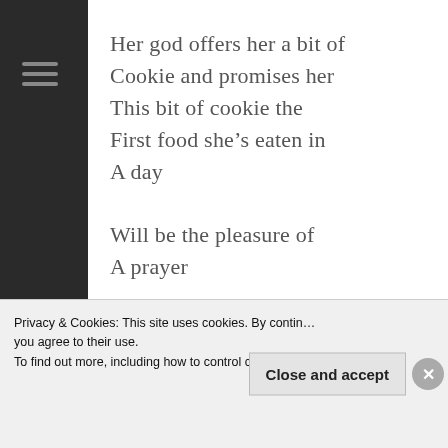Her god offers her a bit of
Cookie and promises her
This bit of cookie the
First food she's eaten in
A day

Will be the pleasure of
A prayer

And not make her
Sick it's a big promise—a
[partial line cut off]
Privacy & Cookies: This site uses cookies. By continu... you agree to their use.
To find out more, including how to control cookies...
Close and accept